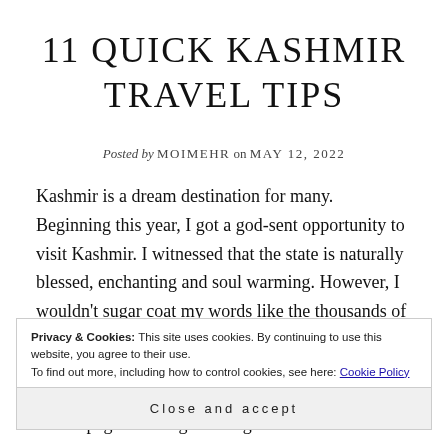11 QUICK KASHMIR TRAVEL TIPS
Posted by MOIMEHR on MAY 12, 2022
Kashmir is a dream destination for many. Beginning this year, I got a god-sent opportunity to visit Kashmir. I witnessed that the state is naturally blessed, enchanting and soul warming. However, I wouldn't sugar coat my words like the thousands of articles you
Privacy & Cookies: This site uses cookies. By continuing to use this website, you agree to their use. To find out more, including how to control cookies, see here: Cookie Policy
Close and accept
before page. Although that's good for economical